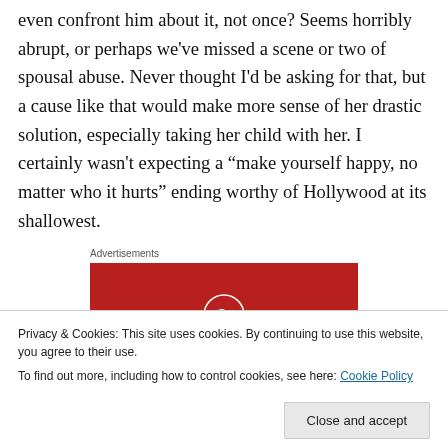even confront him about it, not once? Seems horribly abrupt, or perhaps we've missed a scene or two of spousal abuse. Never thought I'd be asking for that, but a cause like that would make more sense of her drastic solution, especially taking her child with her. I certainly wasn't expecting a “make yourself happy, no matter who it hurts” ending worthy of Hollywood at its shallowest.
Advertisements
[Figure (logo): Longreads advertisement banner with red background, circular L logo and LONGREADS text]
Privacy & Cookies: This site uses cookies. By continuing to use this website, you agree to their use.
To find out more, including how to control cookies, see here: Cookie Policy